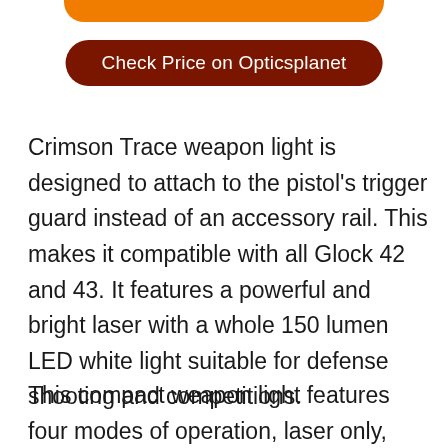[Figure (other): Orange rounded rectangle button/banner at the top of the page, partially cropped]
Check Price on Opticsplanet
Crimson Trace weapon light is designed to attach to the pistol’s trigger guard instead of an accessory rail. This makes it compatible with all Glock 42 and 43. It features a powerful and bright laser with a whole 150 lumen LED white light suitable for defense shooting and competitions.
This compact weapon light features four modes of operation, laser only, laser and